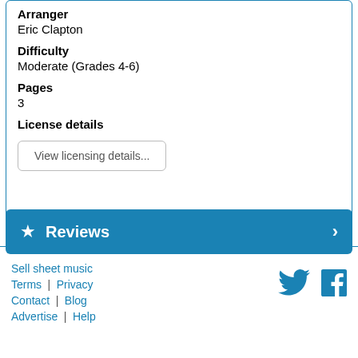Arranger
Eric Clapton
Difficulty
Moderate (Grades 4-6)
Pages
3
License details
View licensing details...
★ Reviews ›
Sell sheet music | Terms | Privacy | Contact | Blog | Advertise | Help